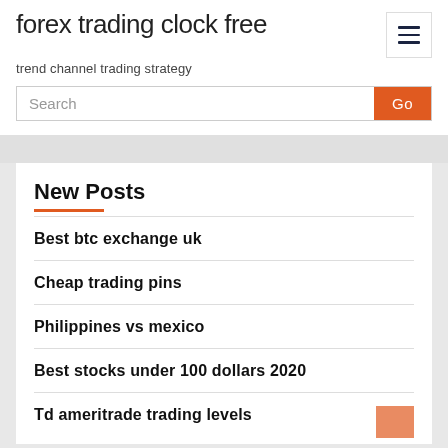forex trading clock free
trend channel trading strategy
New Posts
Best btc exchange uk
Cheap trading pins
Philippines vs mexico
Best stocks under 100 dollars 2020
Td ameritrade trading levels